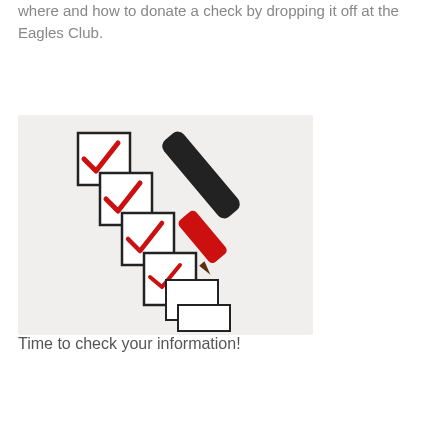where and how to donate a check by dropping it off at the Eagles Club.
[Figure (photo): Photo of a red marker/pen checking boxes on a checklist. Four checkboxes are visible, the top two fully checked with red checkmarks, the third being checked, the fourth partially checked, and two empty boxes below.]
Time to check your information!